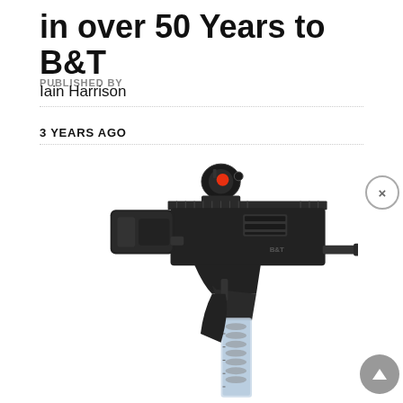in over 50 Years to B&T
PUBLISHED BY
Iain Harrison
3 YEARS AGO
[Figure (photo): A black compact submachine gun (B&T brand) with a red-dot optic sight on top, folding stock extended, and a transparent magazine, photographed on a white background at an angle.]